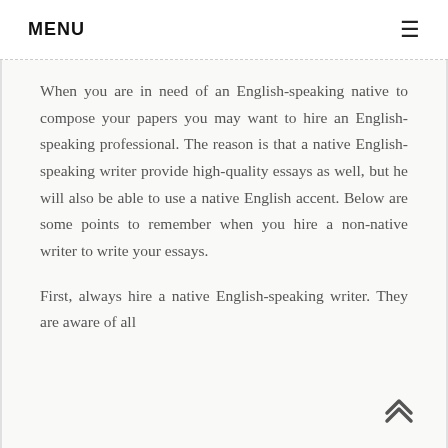MENU
When you are in need of an English-speaking native to compose your papers you may want to hire an English-speaking professional. The reason is that a native English-speaking writer provide high-quality essays as well, but he will also be able to use a native English accent. Below are some points to remember when you hire a non-native writer to write your essays.
First, always hire a native English-speaking writer. They are aware of all